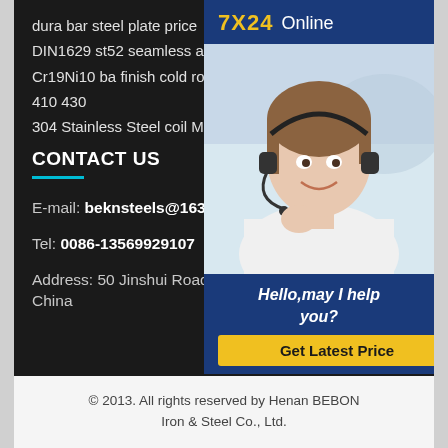dura bar steel plate price
DIN1629 st52 seamless alloy steel pipe
Cr19Ni10 ba finish cold rolled steel coil 410 430
304 Stainless Steel coil Mesh Scr
CONTACT US
E-mail: beknsteels@163.com
Tel: 0086-13569929107
Address: 50 Jinshui Road, Henan, China
[Figure (photo): Customer service representative with headset smiling, with 7X24 Online chat widget overlay showing Hello,may I help you? and Get Latest Price button]
© 2013. All rights reserved by Henan BEBON Iron & Steel Co., Ltd.